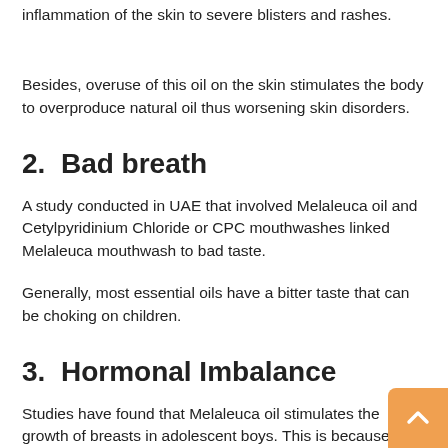inflammation of the skin to severe blisters and rashes.
Besides, overuse of this oil on the skin stimulates the body to overproduce natural oil thus worsening skin disorders.
2.  Bad breath
A study conducted in UAE that involved Melaleuca oil and Cetylpyridinium Chloride or CPC mouthwashes linked Melaleuca mouthwash to bad taste.
Generally, most essential oils have a bitter taste that can be choking on children.
3.  Hormonal Imbalance
Studies have found that Melaleuca oil stimulates the growth of breasts in adolescent boys. This is because